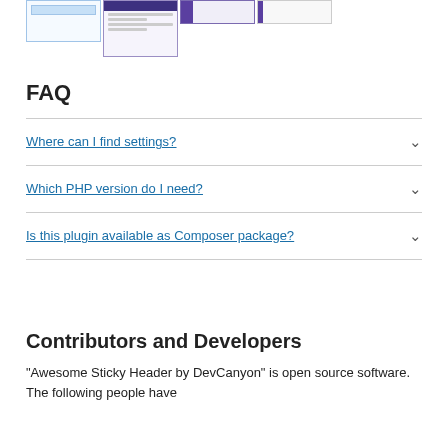[Figure (screenshot): Four screenshots of a WordPress plugin UI arranged in a row at the top of the page]
FAQ
Where can I find settings?
Which PHP version do I need?
Is this plugin available as Composer package?
Contributors and Developers
“Awesome Sticky Header by DevCanyon” is open source software. The following people have